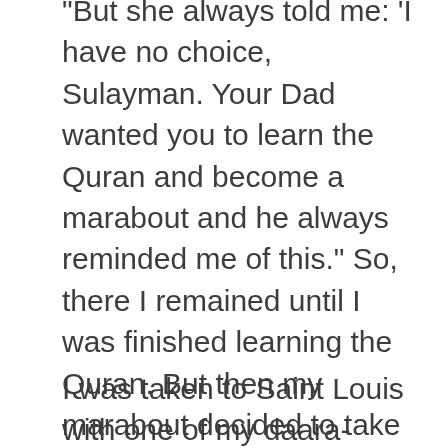“But she always told me: ‘I have no choice, Sulayman.  Your Dad wanted you to learn the Quran and become a marabout and he always reminded me of this.”  So, there I remained until I was finished learning the Quran.  But then my marabout decided to take me to Senegal to continue studying.  This was how my journey to Saint Louis came about.
I was taken to Saint Louis with one of my daara-mates who was also a Gambian.  When we arrived in the city around 8 p.m., we found that the daara